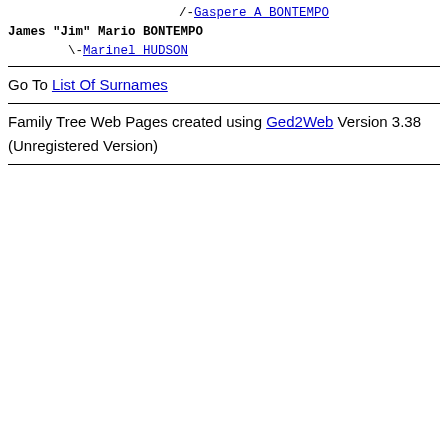/-Gaspere A BONTEMPO
James "Jim" Mario BONTEMPO
\-Marinel HUDSON
Go To List Of Surnames
Family Tree Web Pages created using Ged2Web Version 3.38 (Unregistered Version)